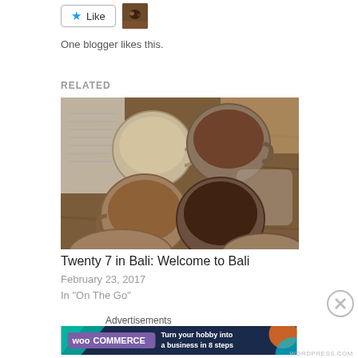[Figure (screenshot): Like button with star icon and small avatar thumbnail]
One blogger likes this.
RELATED
[Figure (photo): Overhead photo of multiple glass mugs filled with various coffee/tea drinks on a wooden table]
Twenty 7 in Bali: Welcome to Bali
February 23, 2017
In "On The Go"
[Figure (screenshot): Close/dismiss button (X in circle) on the right side]
Advertisements
[Figure (screenshot): WooCommerce advertisement banner: 'Turn your hobby into a business in 8 steps']